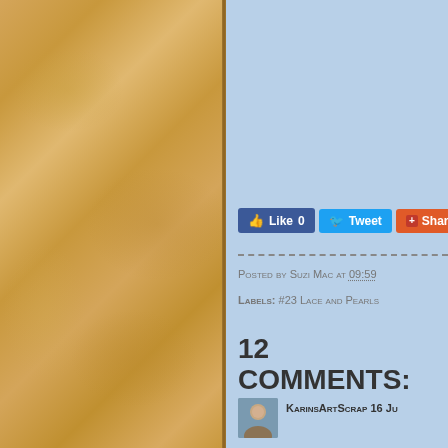[Figure (photo): Left half of page showing a textured tan/golden wood grain or marbled surface background]
[Figure (screenshot): Blog post footer section on light blue background showing social share buttons (Like 0, Tweet, Share), posted by Suzi Mac at 09:59, Labels: #23 Lace and Pearls, 12 comments heading, and KarinsArtScrap commenter avatar]